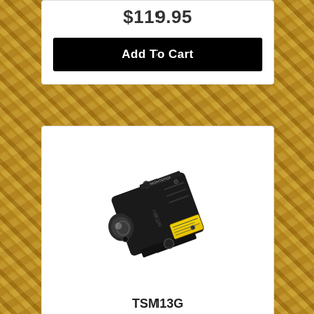$119.95
Add To Cart
[Figure (photo): Nightstick TSM13G weapon-mounted tactical light and green laser combo unit, black anodized aluminum, shown at an angle with visible flashlight lens, laser aperture, yellow warning label, and Nightstick branding.]
TSM13G
Nightstick
$119.95
Add To Cart